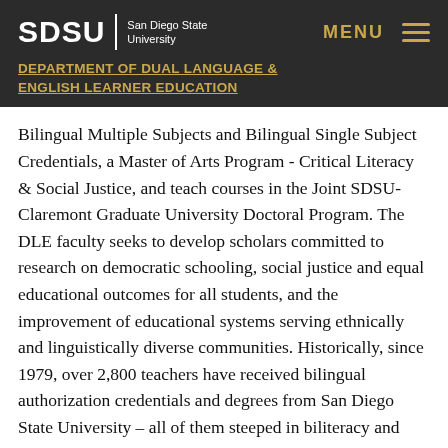SDSU | San Diego State University
DEPARTMENT OF DUAL LANGUAGE & ENGLISH LEARNER EDUCATION
Bilingual Multiple Subjects and Bilingual Single Subject Credentials, a Master of Arts Program - Critical Literacy & Social Justice, and teach courses in the Joint SDSU-Claremont Graduate University Doctoral Program. The DLE faculty seeks to develop scholars committed to research on democratic schooling, social justice and equal educational outcomes for all students, and the improvement of educational systems serving ethnically and linguistically diverse communities. Historically, since 1979, over 2,800 teachers have received bilingual authorization credentials and degrees from San Diego State University – all of them steeped in biliteracy and critical pedagogy.  SDSU remains one of the largest sources of bilingual teachers in the state – widely viewed as the cutting edge in teacher preparation.